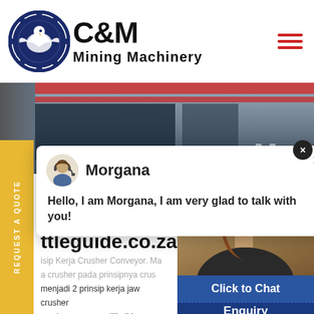[Figure (logo): C&M Mining Machinery logo with eagle in gear circle on the left, and bold text 'C&M Mining Machinery' on the right]
[Figure (photo): Industrial mining machinery equipment photo, partial banner image with red stripe and 'Mac' text visible]
[Figure (screenshot): Chat popup with avatar of Morgana, close X button, and message: Hello, I am Morgana, I am very glad to talk with you!]
REQUEST A QUOTE (vertical sidebar text)
ttleguide.co.za
isip Kerja Crusher Conveyor. Ma crusher pada prinsipnya crus menjadi 2 prinsip kerja jaw crusher crusherraymons millball jaw crushe jatuh dari belt conveyor cgm crush
[Figure (photo): Customer service agent photo with headset, teal notification badge showing 1, Click to Chat button, and partial Enquiry text]